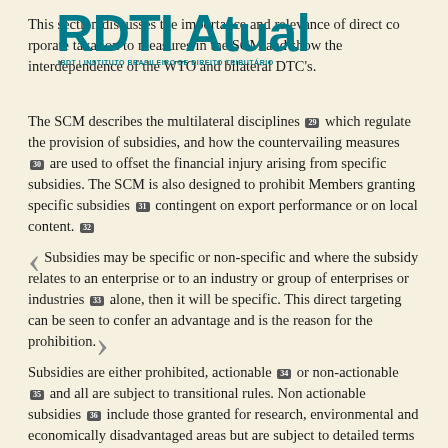This section discusses the importance and relevance of direct corporate taxation to measures in the SCM and show the interdependence of the WTO and bilateral DTC's.
The SCM describes the multilateral disciplines [29] which regulate the provision of subsidies, and how the countervailing measures [30] are used to offset the financial injury arising from specific subsidies. The SCM is also designed to prohibit Members granting specific subsidies [31] contingent on export performance or on local content. [32]
Subsidies may be specific or non-specific and where the subsidy relates to an enterprise or to an industry or group of enterprises or industries [33] alone, then it will be specific. This direct targeting can be seen to confer an advantage and is the reason for the prohibition.
Subsidies are either prohibited, actionable [34] or non-actionable [35] and all are subject to transitional rules. Non actionable subsidies [36] include those granted for research, environmental and economically disadvantaged areas but are subject to detailed terms and conditions.
The time period for a developed country member to phase out a prohibited subsidy is three years from when it first came into force.